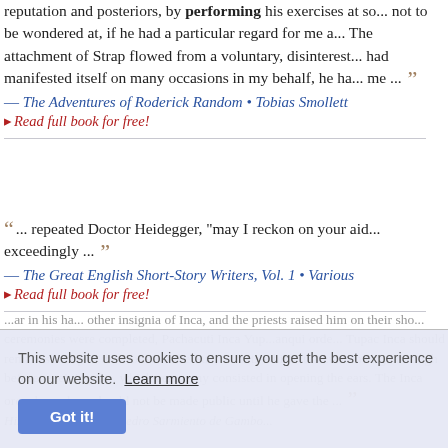reputation and posteriors, by performing his exercises at so... not to be wondered at, if he had a particular regard for me a... The attachment of Strap flowed from a voluntary, disinterest... had manifested itself on many occasions in my behalf, he ha... me ...
— The Adventures of Roderick Random • Tobias Smollett
▸ Read full book for free!
... repeated Doctor Heidegger, "may I reckon on your aid... exceedingly ...
— The Great English Short-Story Writers, Vol. 1 • Various
▸ Read full book for free!
This website uses cookies to ensure you get the best experience on our website. Learn more